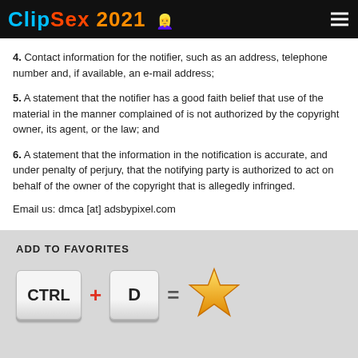ClipSex 2021
4. Contact information for the notifier, such as an address, telephone number and, if available, an e-mail address;
5. A statement that the notifier has a good faith belief that use of the material in the manner complained of is not authorized by the copyright owner, its agent, or the law; and
6. A statement that the information in the notification is accurate, and under penalty of perjury, that the notifying party is authorized to act on behalf of the owner of the copyright that is allegedly infringed.
Email us: dmca [at] adsbypixel.com
[Figure (infographic): ADD TO FAVORITES shortcut: CTRL + D = star icon]